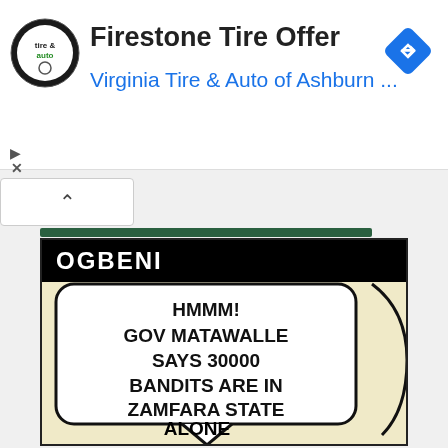[Figure (screenshot): Ad banner for Firestone Tire Offer from Virginia Tire & Auto of Ashburn with logo and navigation arrow icon]
Firestone Tire Offer
Virginia Tire & Auto of Ashburn ...
[Figure (illustration): Comic strip panel titled OGBENI showing a speech bubble with text: HMMM! GOV MATAWALLE SAYS 30000 BANDITS ARE IN ZAMFARA STATE ALONE]